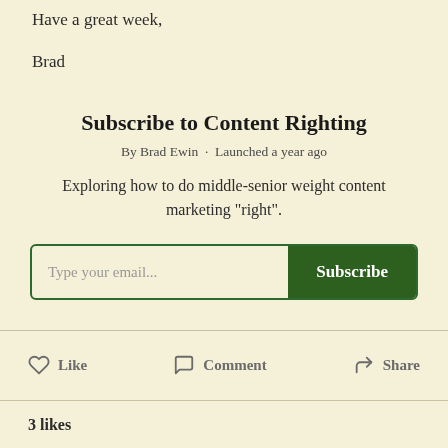Have a great week,
Brad
Subscribe to Content Righting
By Brad Ewin · Launched a year ago
Exploring how to do middle-senior weight content marketing "right".
Type your email... Subscribe
Like  Comment  Share
3 likes